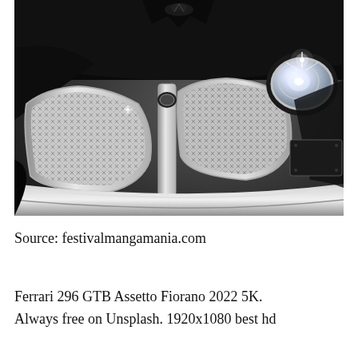[Figure (photo): Close-up photo of a dark/black luxury car front grille with chrome diamond-mesh pattern, chrome bumper trim, round headlight with lens flare on right, and a hood ornament at the top. Dark dramatic background.]
Source: festivalmangamania.com
Ferrari 296 GTB Assetto Fiorano 2022 5K. Always free on Unsplash. 1920x1080 best hd